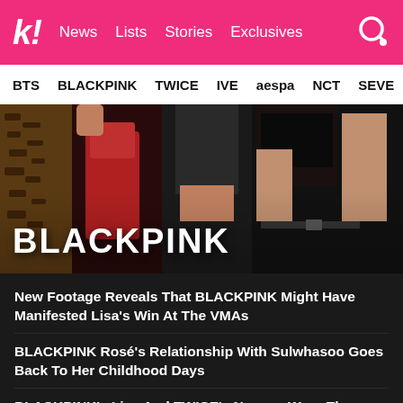k! News Lists Stories Exclusives
BTS BLACKPINK TWICE IVE aespa NCT SEVE
[Figure (photo): BLACKPINK group photo with members posing in dark outfits against a dark background, with 'BLACKPINK' text overlay]
New Footage Reveals That BLACKPINK Might Have Manifested Lisa's Win At The VMAs
BLACKPINK Rosé's Relationship With Sulwhasoo Goes Back To Her Childhood Days
BLACKPINK's Lisa And TWICE's Nayeon Wore The Same Top But Served Totally Different Vibes
The 6 Female Idols Who Are All Part Of BLACKPINK Jennie's Star-Studded Friendship Group